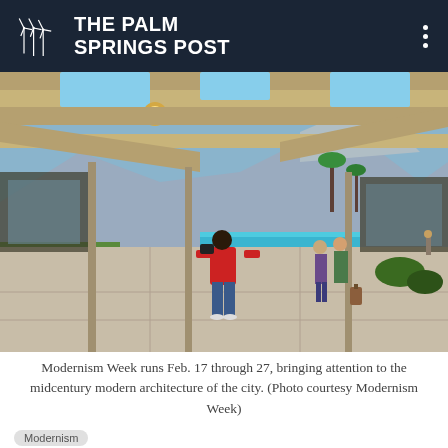THE PALM SPRINGS POST
[Figure (photo): A person in a red jacket photographs a midcentury modern home with large skylights, a pool, and a mountain backdrop, with other visitors standing nearby. Green lawn and desert landscaping visible.]
Modernism Week runs Feb. 17 through 27, bringing attention to the midcentury modern architecture of the city. (Photo courtesy Modernism Week)
Modernism